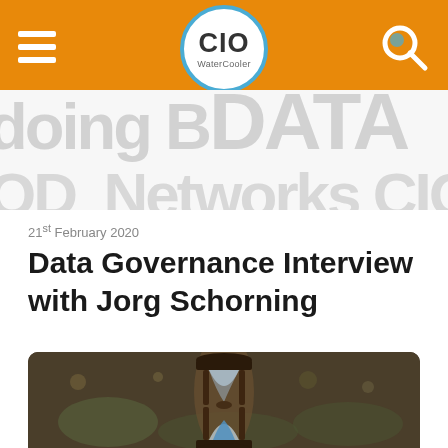CIO Water Cooler
[Figure (illustration): Background watermark text with words like DATA, Networks, CIO, OD in large light grey letters]
21st February 2020
Data Governance Interview with Jorg Schorning
[Figure (photo): Close-up photo of a wooden hourglass with blue sand, blurred background]